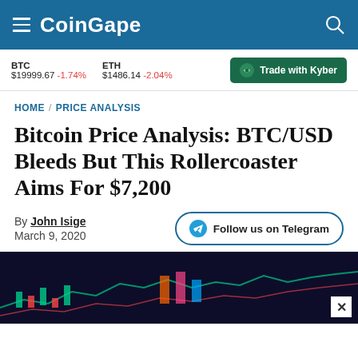CoinGape
BTC $19999.67 -1.74%   ETH $1486.14 -2.04%   Trade with Kyber
HOME / PRICE ANALYSIS
Bitcoin Price Analysis: BTC/USD Bleeds But This Rollercoaster Aims For $7,200
By John Isige
March 9, 2020
[Figure (photo): Chart/trading image with colorful candlestick or market display, dark background]